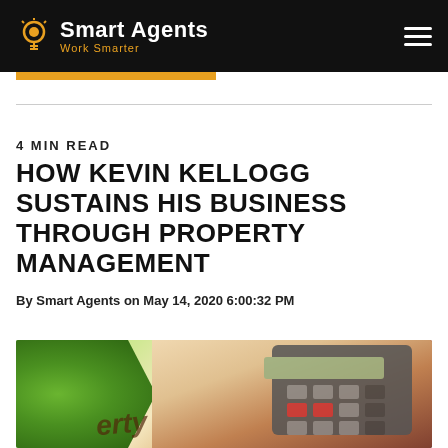Smart Agents — Work Smarter
4 MIN READ
HOW KEVIN KELLOGG SUSTAINS HIS BUSINESS THROUGH PROPERTY MANAGEMENT
By Smart Agents on May 14, 2020 6:00:32 PM
[Figure (photo): A calculator and a green plant on a desk, with partial text reading 'property' visible — illustrating property management theme.]